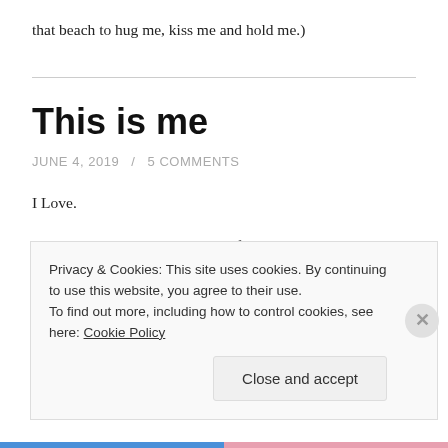that beach to hug me, kiss me and hold me.)
This is me
JUNE 4, 2019 / 5 COMMENTS
I Love.
Who I love is my business, my life.
Privacy & Cookies: This site uses cookies. By continuing to use this website, you agree to their use.
To find out more, including how to control cookies, see here: Cookie Policy
Close and accept